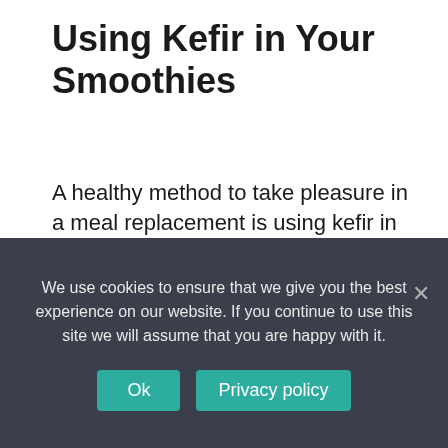Using Kefir in Your Smoothies
A healthy method to take pleasure in a meal replacement is using kefir in your smoothies. Kefir offers the body a healthy boost of calcium along with B vitamins, particularly B12. Kefir also includes high quantities of protein and probiotic lactobacilli.
Kefir smoothies can be made using yogurt, vegetables, or fruit. To keep the calorie count
We use cookies to ensure that we give you the best experience on our website. If you continue to use this site we will assume that you are happy with it.